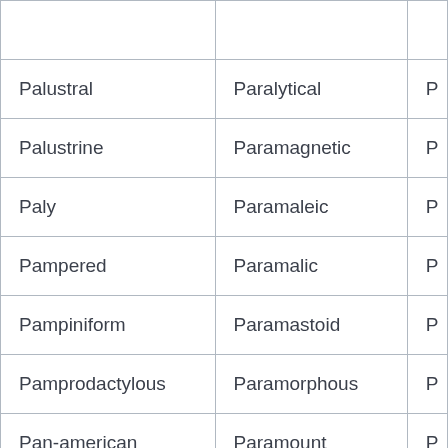| Palustral | Paralytical | P |
| Palustrine | Paramagnetic | P |
| Paly | Paramaleic | P |
| Pampered | Paramalic | P |
| Pampiniform | Paramastoid | P |
| Pamprodactylous | Paramorphous | P |
| Pan-american | Paramount | P |
| Pan-anglican | Paranymphal | P |
| Panacean | Parapetalous | P |
| Panary | Parapeted | P |